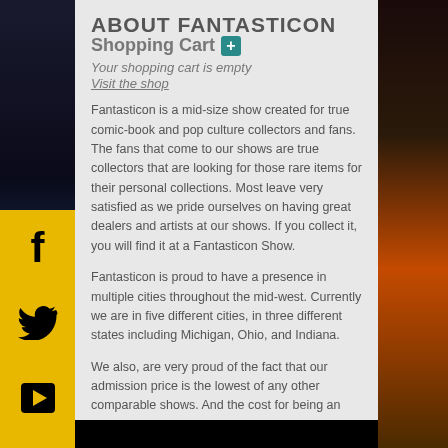ABOUT FANTASTICON
Shopping Cart +
Your shopping cart is empty
Visit the shop
Fantasticon is a mid-size show created for true comic-book and pop culture collectors and fans. The fans that come to our shows are true collectors that are looking for those rare items for their personal collections. Most leave very satisfied as we pride ourselves on having great dealers and artists at our shows. If you collect it, you will find it at a Fantasticon Show.
Fantasticon is proud to have a presence in multiple cities throughout the mid-west. Currently we are in five different cities, in three different states including Michigan, Ohio, and Indiana.
We also, are very proud of the fact that our admission price is the lowest of any other comparable shows. And the cost for being an exhibitor or artist at the Fantasticon is far less than any comparable comic cons out there.